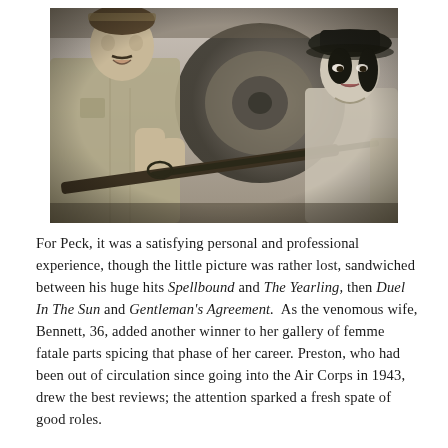[Figure (photo): Black and white film still showing a man in a khaki safari shirt holding a rifle, and a woman in a dark hat sitting inside what appears to be a vehicle. The man is looking at the woman and appears to be talking while holding the gun across toward her.]
For Peck, it was a satisfying personal and professional experience, though the little picture was rather lost, sandwiched between his huge hits Spellbound and The Yearling, then Duel In The Sun and Gentleman's Agreement.  As the venomous wife, Bennett, 36, added another winner to her gallery of femme fatale parts spicing that phase of her career. Preston, who had been out of circulation since going into the Air Corps in 1943, drew the best reviews; the attention sparked a fresh spate of good roles.